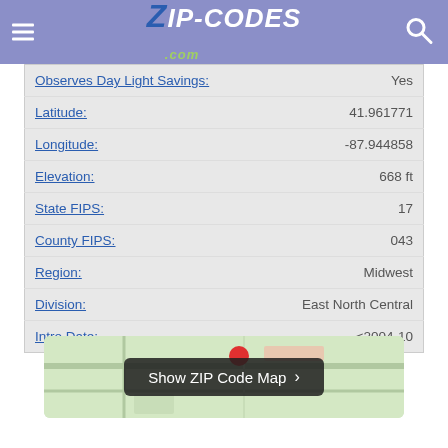ZIP-CODES.com
| Field | Value |
| --- | --- |
| Observes Day Light Savings: | Yes |
| Latitude: | 41.961771 |
| Longitude: | -87.944858 |
| Elevation: | 668 ft |
| State FIPS: | 17 |
| County FIPS: | 043 |
| Region: | Midwest |
| Division: | East North Central |
| Intro Date: | <2004-10 |
[Figure (map): Show ZIP Code Map button overlaid on a street map thumbnail]